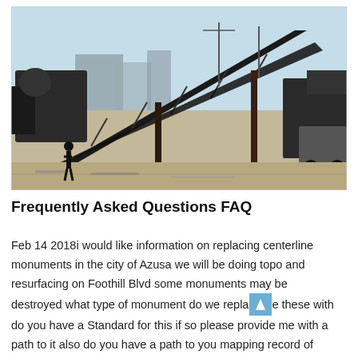[Figure (photo): Outdoor industrial scene showing large conveyor belt machinery and construction/mining equipment on a dusty lot under a light blue sky.]
Frequently Asked Questions FAQ
Feb 14 2018i would like information on replacing centerline monuments in the city of Azusa we will be doing topo and resurfacing on Foothill Blvd some monuments may be destroyed what type of monument do we replace these with do you have a Standard for this if so please provide me with a path to it also do you have a path to you mapping record of